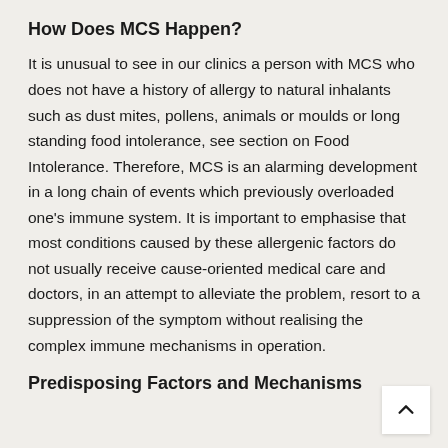How Does MCS Happen?
It is unusual to see in our clinics a person with MCS who does not have a history of allergy to natural inhalants such as dust mites, pollens, animals or moulds or long standing food intolerance, see section on Food Intolerance. Therefore, MCS is an alarming development in a long chain of events which previously overloaded one's immune system. It is important to emphasise that most conditions caused by these allergenic factors do not usually receive cause-oriented medical care and doctors, in an attempt to alleviate the problem, resort to a suppression of the symptom without realising the complex immune mechanisms in operation.
Predisposing Factors and Mechanisms